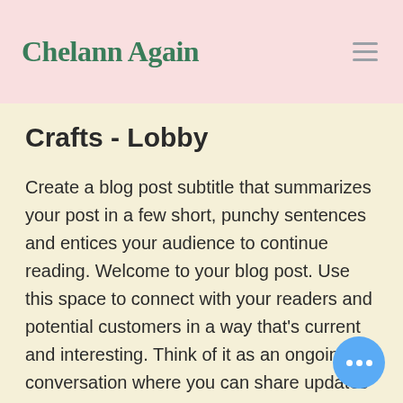Chelann Again
Crafts - Lobby
Create a blog post subtitle that summarizes your post in a few short, punchy sentences and entices your audience to continue reading. Welcome to your blog post. Use this space to connect with your readers and potential customers in a way that’s current and interesting. Think of it as an ongoing conversation where you can share updates about business, trends, news, and more. “Do you have a design in mind for your blog? Whether you prefer a trendy postcard look or y… going